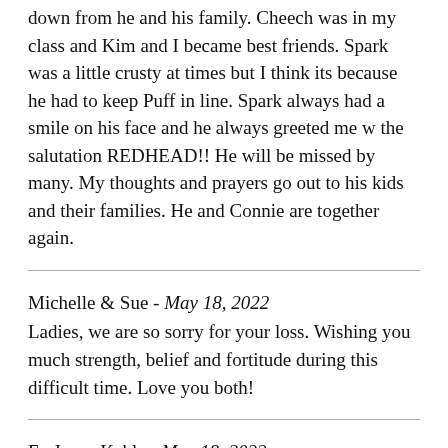down from he and his family. Cheech was in my class and Kim and I became best friends. Spark was a little crusty at times but I think its because he had to keep Puff in line. Spark always had a smile on his face and he always greeted me w the salutation REDHEAD!! He will be missed by many. My thoughts and prayers go out to his kids and their families. He and Connie are together again.
Michelle & Sue - May 18, 2022
Ladies, we are so sorry for your loss. Wishing you much strength, belief and fortitude during this difficult time. Love you both!
Fr. Jason Kahle - May 18, 2022
My deepest condolences and sympathy for the loss of Sparky. May he rest in peace in God's heavenly